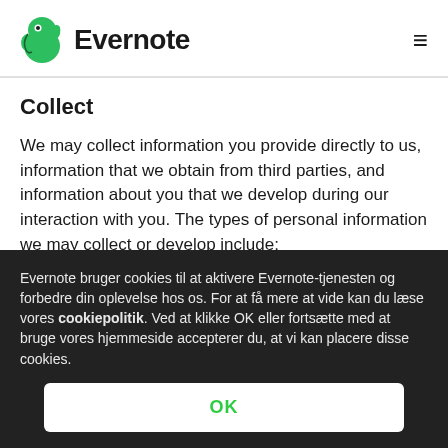Evernote
Collect
We may collect information you provide directly to us, information that we obtain from third parties, and information about you that we develop during our interaction with you. The types of personal information we may collect or develop include:
Evernote bruger cookies til at aktivere Evernote-tjenesten og forbedre din oplevelse hos os. For at få mere at vide kan du læse vores cookiepolitik. Ved at klikke OK eller fortsætte med at bruge vores hjemmeside accepterer du, at vi kan placere disse cookies.
OK